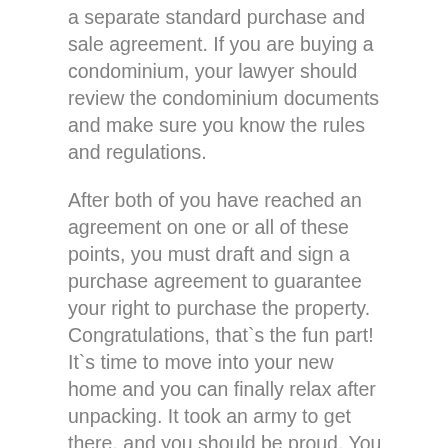a separate standard purchase and sale agreement. If you are buying a condominium, your lawyer should review the condominium documents and make sure you know the rules and regulations.
After both of you have reached an agreement on one or all of these points, you must draft and sign a purchase agreement to guarantee your right to purchase the property. Congratulations, that`s the fun part! It`s time to move into your new home and you can finally relax after unpacking. It took an army to get there, and you should be proud. You are probably exhausted after the process of buying the house. It can certainly take a lot of work, and it`s worth it! Every transaction is different, so not all property purchase contracts are alike. However, there are a few basis points that should be included in every purchase agreement. You have found the perfect home, negotiated a price and signed the purchase contract. Now the final process begins, which includes inspections, appraisals and an appraisal of the property. Understanding the value of this process can help you decide if you want to give in on a particular offer.